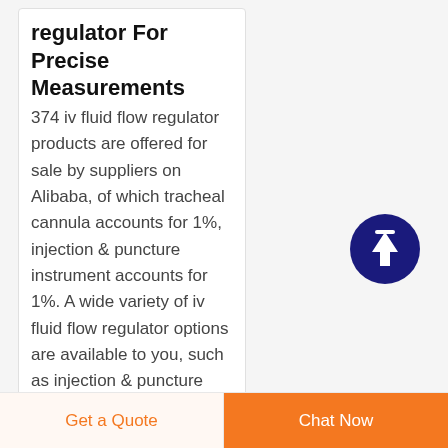regulator For Precise Measurements
374 iv fluid flow regulator products are offered for sale by suppliers on Alibaba, of which tracheal cannula accounts for 1%, injection & puncture instrument accounts for 1%. A wide variety of iv fluid flow regulator options are available to you, such as injection & puncture instrument. You can also choose from class ii iv fluid flow
[Figure (other): Dark navy blue circular scroll-to-top button with a white upward arrow icon]
Get a Quote
Chat Now